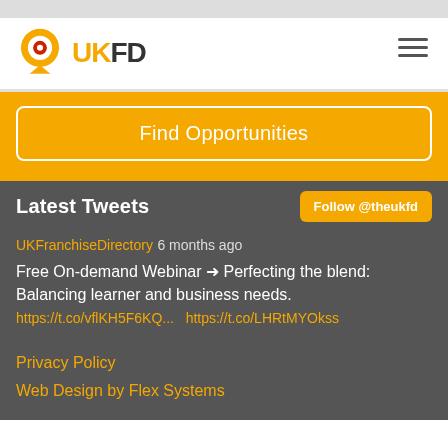UKFD
Find Opportunities
Latest Tweets
Follow @theukfd
UKFranchiseDirectory 6 months ago
Free On-demand Webinar → Perfecting the blend: Balancing learner and business needs.
https://t.co/vflKH5F6KQ... https://t.co/LHRtMYOkss
Privacy Policy
Web Design by Flex Systems